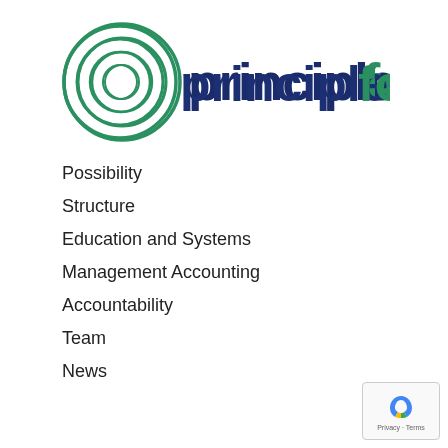[Figure (logo): PrincipleFocus logo with concentric green circles on the left and the text 'principle' in dark navy bold and 'focus' in green bold]
Possibility
Structure
Education and Systems
Management Accounting
Accountability
Team
News